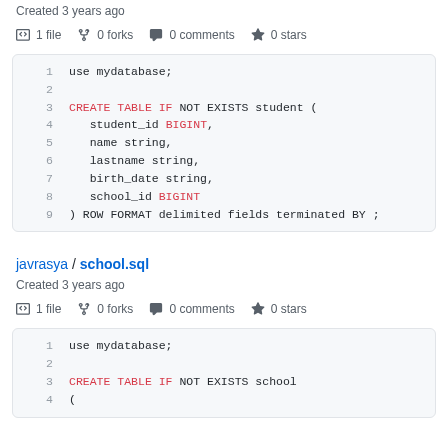Created 3 years ago
1 file  0 forks  0 comments  0 stars
[Figure (screenshot): Code block showing SQL: use mydatabase; CREATE TABLE IF NOT EXISTS student ( student_id BIGINT, name string, lastname string, birth_date string, school_id BIGINT ) ROW FORMAT delimited fields terminated BY ;]
javrasya / school.sql
Created 3 years ago
1 file  0 forks  0 comments  0 stars
[Figure (screenshot): Code block showing SQL: use mydatabase; CREATE TABLE IF NOT EXISTS school (]